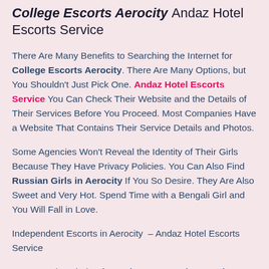College Escorts Aerocity Andaz Hotel Escorts Service
There Are Many Benefits to Searching the Internet for College Escorts Aerocity. There Are Many Options, but You Shouldn't Just Pick One. Andaz Hotel Escorts Service You Can Check Their Website and the Details of Their Services Before You Proceed. Most Companies Have a Website That Contains Their Service Details and Photos.
Some Agencies Won't Reveal the Identity of Their Girls Because They Have Privacy Policies. You Can Also Find Russian Girls in Aerocity If You So Desire. They Are Also Sweet and Very Hot. Spend Time with a Bengali Girl and You Will Fall in Love.
Independent Escorts in Aerocity – Andaz Hotel Escorts Service
You Can Also Find Independent Escorts in Aerocity on the Market. It Is Easy to Find the Right One. Agency or Individual Agents Can Be Hired. Model Escorts Are the Best Choice If...